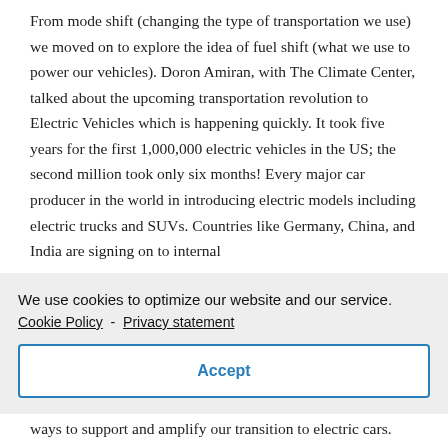From mode shift (changing the type of transportation we use) we moved on to explore the idea of fuel shift (what we use to power our vehicles). Doron Amiran, with The Climate Center, talked about the upcoming transportation revolution to Electric Vehicles which is happening quickly. It took five years for the first 1,000,000 electric vehicles in the US; the second million took only six months! Every major car producer in the world in introducing electric models including electric trucks and SUVs. Countries like Germany, China, and India are signing on to internal
We use cookies to optimize our website and our service.
Cookie Policy - Privacy statement
Accept
ways to support and amplify our transition to electric cars.